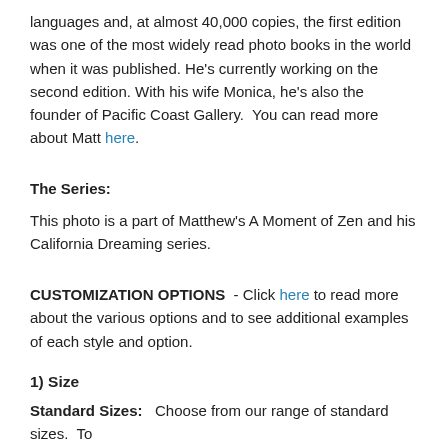languages and, at almost 40,000 copies, the first edition was one of the most widely read photo books in the world when it was published. He's currently working on the second edition. With his wife Monica, he's also the founder of Pacific Coast Gallery.  You can read more about Matt here.
The Series:
This photo is a part of Matthew's A Moment of Zen and his California Dreaming series.
CUSTOMIZATION OPTIONS - Click here to read more about the various options and to see additional examples of each style and option.
1) Size
Standard Sizes:   Choose from our range of standard sizes.  To